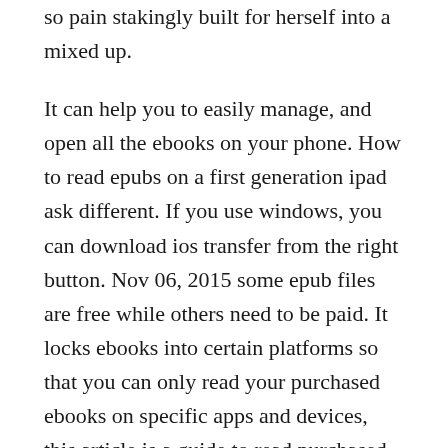so pain stakingly built for herself into a mixed up.
It can help you to easily manage, and open all the ebooks on your phone. How to read epubs on a first generation ipad ask different. If you use windows, you can download ios transfer from the right button. Nov 06, 2015 some epub files are free while others need to be paid. It locks ebooks into certain platforms so that you can only read your purchased ebooks on specific apps and devices, this article is a guide to read purchased epub ebook in